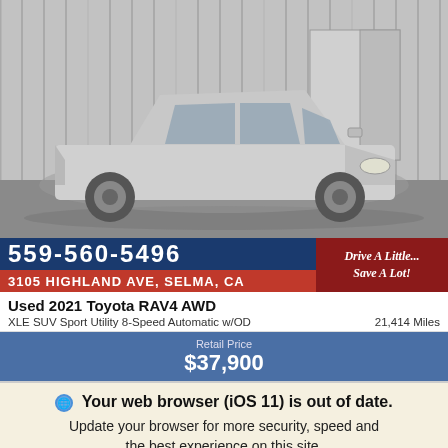[Figure (photo): Silver Toyota RAV4 AWD SUV parked in front of a corrugated metal building/warehouse, side-front view, outdoor daylight photo used as a vehicle listing image.]
559-560-5496
Drive A Little... Save A Lot!
3105 HIGHLAND AVE, SELMA, CA
Used 2021 Toyota RAV4 AWD
XLE SUV Sport Utility 8-Speed Automatic w/OD
21,414 Miles
Retail Price
$37,900
Your web browser (iOS 11) is out of date.
Update your browser for more security, speed and the best experience on this site.
Update browser
Ignore